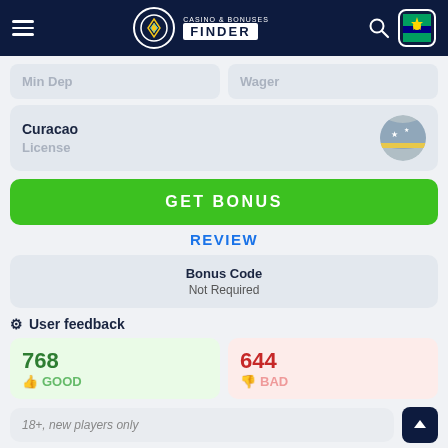Casino & Bonuses Finder
Min Dep
Wager
Curacao
License
GET BONUS
REVIEW
Bonus Code
Not Required
User feedback
768
GOOD
644
BAD
18+, new players only